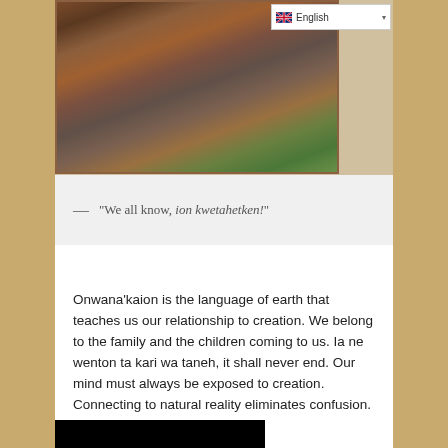[Figure (photo): A painting depicting a group of people sitting together outdoors on grass, sharing a meal or gathering, with colorful traditional clothing.]
— "We all know, ion kwetahetken!"
Onwana'kaion is the language of earth that teaches us our relationship to creation. We belong to the family and the children coming to us. Ia ne wenton ta kari wa taneh, it shall never end. Our mind must always be exposed to creation. Connecting to natural reality eliminates confusion. Ion'heh is the life spirit.
[Figure (screenshot): A black rectangle, appears to be a video player thumbnail.]